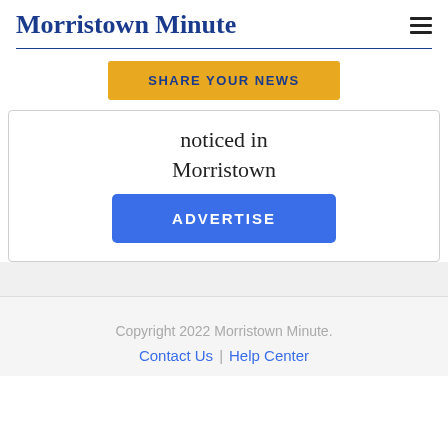Morristown Minute
SHARE YOUR NEWS
noticed in Morristown
ADVERTISE
Copyright 2022 Morristown Minute. Contact Us | Help Center